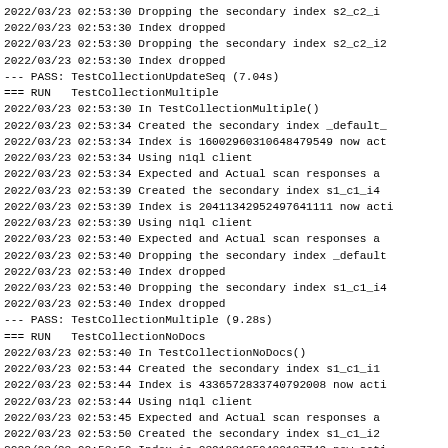2022/03/23 02:53:30 Dropping the secondary index s2_c2_i
2022/03/23 02:53:30 Index dropped
2022/03/23 02:53:30 Dropping the secondary index s2_c2_i2
2022/03/23 02:53:30 Index dropped
--- PASS: TestCollectionUpdateSeq (7.04s)
=== RUN   TestCollectionMultiple
2022/03/23 02:53:30 In TestCollectionMultiple()
2022/03/23 02:53:34 Created the secondary index _default_
2022/03/23 02:53:34 Index is 16002960310648479549 now act
2022/03/23 02:53:34 Using n1ql client
2022/03/23 02:53:34 Expected and Actual scan responses a
2022/03/23 02:53:39 Created the secondary index s1_c1_i4
2022/03/23 02:53:39 Index is 20411342952497641111 now acti
2022/03/23 02:53:39 Using n1ql client
2022/03/23 02:53:40 Expected and Actual scan responses a
2022/03/23 02:53:40 Dropping the secondary index _default
2022/03/23 02:53:40 Index dropped
2022/03/23 02:53:40 Dropping the secondary index s1_c1_i4
2022/03/23 02:53:40 Index dropped
--- PASS: TestCollectionMultiple (9.28s)
=== RUN   TestCollectionNoDocs
2022/03/23 02:53:40 In TestCollectionNoDocs()
2022/03/23 02:53:44 Created the secondary index s1_c1_i1
2022/03/23 02:53:44 Index is 4336572833740792008 now acti
2022/03/23 02:53:44 Using n1ql client
2022/03/23 02:53:45 Expected and Actual scan responses a
2022/03/23 02:53:50 Created the secondary index s1_c1_i2
2022/03/23 02:53:50 Index is 2391831350480187749 now acti
2022/03/23 02:53:50 Using n1ql client
2022/03/23 02:53:51 Expected and Actual scan responses a